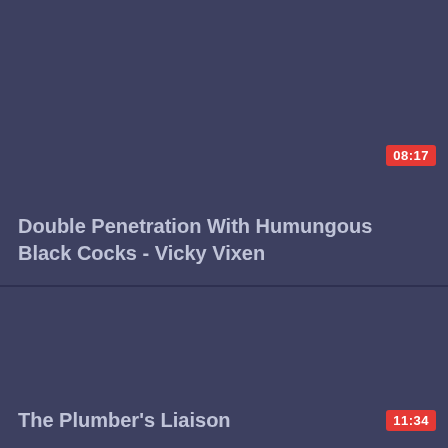[Figure (screenshot): Video thumbnail card with dark blue-gray background, duration badge showing 08:17 in red, and title text below]
Double Penetration With Humungous Black Cocks - Vicky Vixen
[Figure (screenshot): Video thumbnail card with dark blue-gray background, duration badge showing 11:34 in red, and title text below]
The Plumber's Liaison